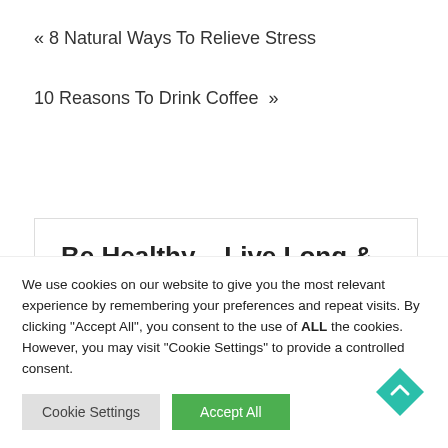« 8 Natural Ways To Relieve Stress
10 Reasons To Drink Coffee »
Be Healthy .. Live Long & Happy
We use cookies on our website to give you the most relevant experience by remembering your preferences and repeat visits. By clicking "Accept All", you consent to the use of ALL the cookies. However, you may visit "Cookie Settings" to provide a controlled consent.